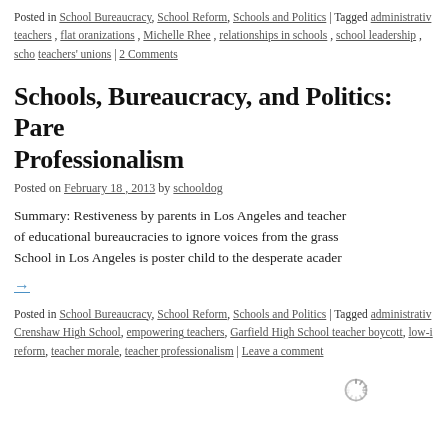Posted in School Bureaucracy, School Reform, Schools and Politics | Tagged administrative teachers, flat oranizations, Michelle Rhee, relationships in schools, school leadership, scho... teachers' unions | 2 Comments
Schools, Bureaucracy, and Politics: Pare... Professionalism
Posted on February 18, 2013 by schooldog
Summary: Restiveness by parents in Los Angeles and teacher... of educational bureaucracies to ignore voices from the grass... School in Los Angeles is poster child to the desperate academ...
→
Posted in School Bureaucracy, School Reform, Schools and Politics | Tagged administrativ... Crenshaw High School, empowering teachers, Garfield High School teacher boycott, low-i... reform, teacher morale, teacher professionalism | Leave a comment
[Figure (other): Loading spinner graphic at bottom right]